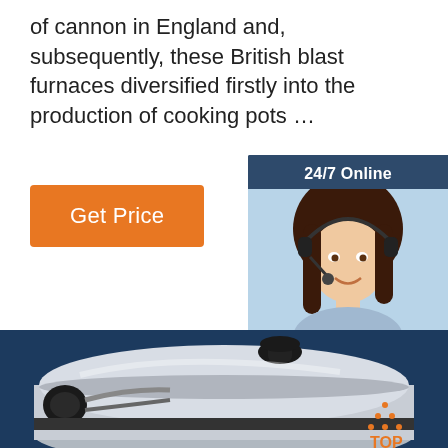of cannon in England and, subsequently, these British blast furnaces diversified firstly into the production of cooking pots …
[Figure (infographic): Orange 'Get Price' button]
[Figure (infographic): 24/7 Online chat widget with photo of woman with headset, 'Click here for free chat!' text, and orange QUOTATION button]
[Figure (photo): Large stainless steel cooking pot with black handles and lid on dark blue background, with TOP logo in bottom right corner]